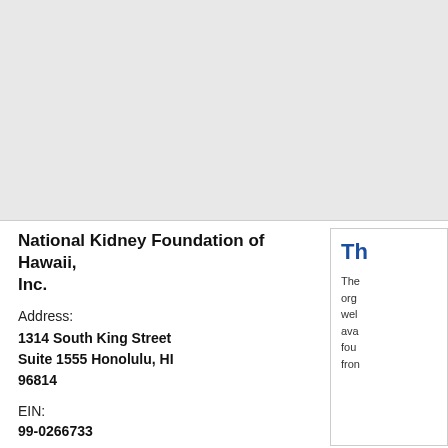[Figure (other): Gray background area occupying top half of page]
National Kidney Foundation of Hawaii, Inc.
Address:
1314 South King Street Suite 1555 Honolulu, HI 96814
EIN:
99-0266733
Th The org wel ava fou fron